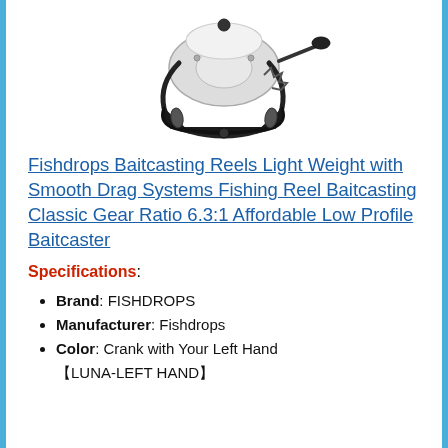[Figure (photo): A baitcasting fishing reel shown from the side, black and silver/white color, with handle and drag system visible.]
Fishdrops Baitcasting Reels Light Weight with Smooth Drag Systems Fishing Reel Baitcasting Classic Gear Ratio 6.3:1 Affordable Low Profile Baitcaster
Specifications:
Brand: FISHDROPS
Manufacturer: Fishdrops
Color: Crank with Your Left Hand 【LUNA-LEFT HAND】